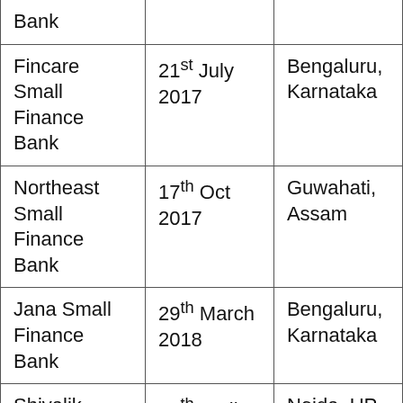| Bank |  |  |
| Fincare Small Finance Bank | 21st July 2017 | Bengaluru, Karnataka |
| Northeast Small Finance Bank | 17th Oct 2017 | Guwahati, Assam |
| Jana Small Finance Bank | 29th March 2018 | Bengaluru, Karnataka |
| Shivalik Small Finance Bank | 26th April 2021 | Noida, UP |